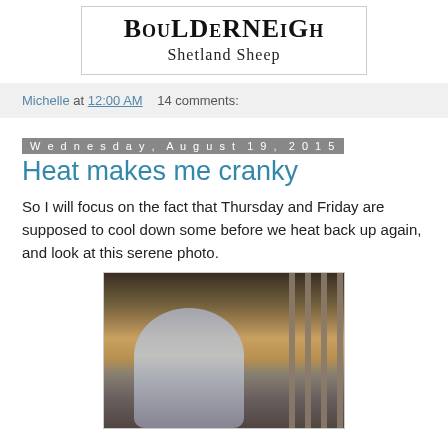[Figure (logo): Boulderneigh Shetland Sheep logo in a bordered box with decorative serif font]
Michelle at 12:00 AM   14 comments:
Wednesday, August 19, 2015
Heat makes me cranky
So I will focus on the fact that Thursday and Friday are supposed to cool down some before we heat back up again, and look at this serene photo.
[Figure (photo): A person leaning over in a barn or farm setting, with a wooden fence/gate visible on the right side. Dry hay/straw ground visible.]